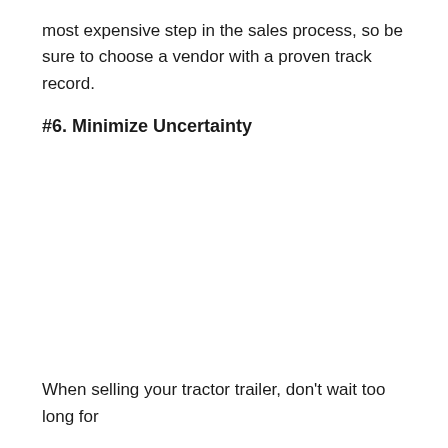most expensive step in the sales process, so be sure to choose a vendor with a proven track record.
#6. Minimize Uncertainty
When selling your tractor trailer, don't wait too long for